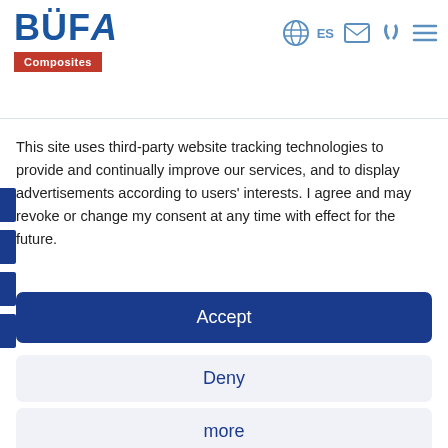[Figure (logo): BÜFA Composites logo — blue bold text BÜFA with red Composites badge below]
[Figure (screenshot): Navigation icons: globe with ES, email envelope, phone, hamburger menu — in blue]
This site uses third-party website tracking technologies to provide and continually improve our services, and to display advertisements according to users' interests. I agree and may revoke or change my consent at any time with effect for the future.
Accept
Deny
more
Powered by usercentrics
Phone + 46 418 566 90
bohan.larsson@bufaracing.com